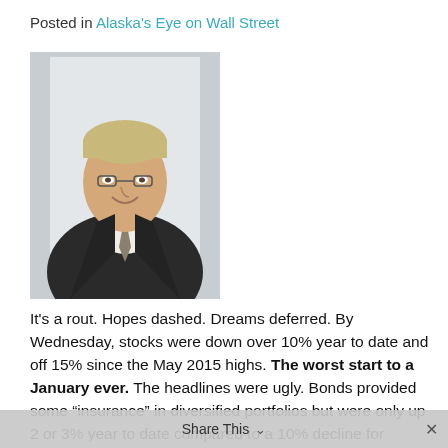Posted in Alaska's Eye on Wall Street
[Figure (photo): Professional headshot of a middle-aged man with short blonde hair and glasses, wearing a dark suit with a grey tie, smiling, white background.]
It's a rout. Hopes dashed. Dreams deferred. By Wednesday, stocks were down over 10% year to date and off 15% since the May 2015 highs. The worst start to a January ever. The headlines were ugly. Bonds provided some “insurance” in diversified portfolios but were only up 2 or 3% year to date compared to a 10% decline for equities. WTI Oil hit